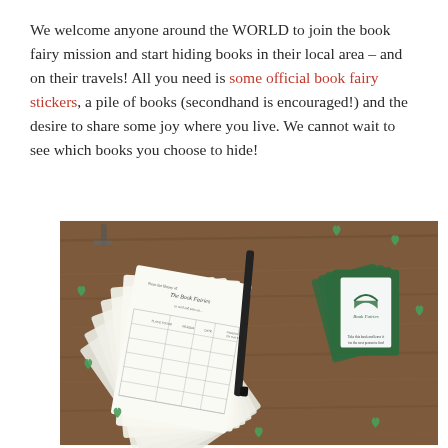We welcome anyone around the WORLD to join the book fairy mission and start hiding books in their local area – and on their travels! All you need is some official book fairy stickers, a pile of books (secondhand is encouraged!) and the desire to share some joy where you live. We cannot wait to see which books you choose to hide!
[Figure (photo): A photo of book fairy stickers and checkout cards laid out on a wooden table. Several white library-style checkout cards are fanned out, along with green Book Fairies sticker cards. Small green heart confetti pieces are scattered around on the wooden surface.]